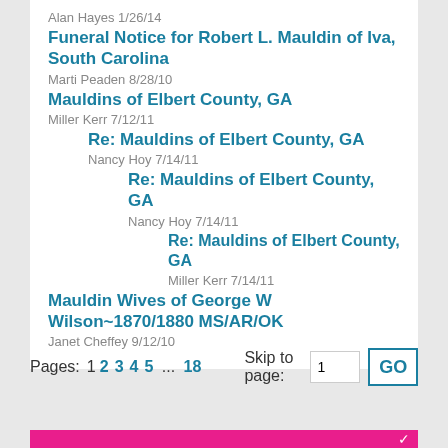Alan Hayes 1/26/14
Funeral Notice for Robert L. Mauldin of Iva, South Carolina
Marti Peaden 8/28/10
Mauldins of Elbert County, GA
Miller Kerr 7/12/11
Re: Mauldins of Elbert County, GA
Nancy Hoy 7/14/11
Re: Mauldins of Elbert County, GA
Nancy Hoy 7/14/11
Re: Mauldins of Elbert County, GA
Miller Kerr 7/14/11
Mauldin Wives of George W Wilson~1870/1880 MS/AR/OK
Janet Cheffey 9/12/10
Pages: 1 2 3 4 5 ... 18   Skip to page: 1  GO